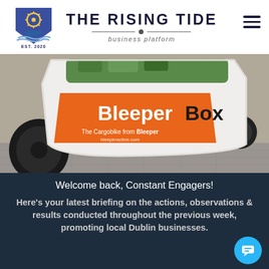[Figure (logo): The Rising Tide business platform logo — shield with ship wheel and boat on waves, EST. 2020]
THE RISING TIDE
business platform
[Figure (photo): Close-up photo of a BleeperBox cargo bike front panel with orange branding panel reading 'BleeperBox' and 'The Cargobike from Bleeper bleeperactive.com']
Welcome back, Constant Engagers!
Here's your latest briefing on the actions, observations & results conducted throughout the previous week, promoting local Dublin businesses.